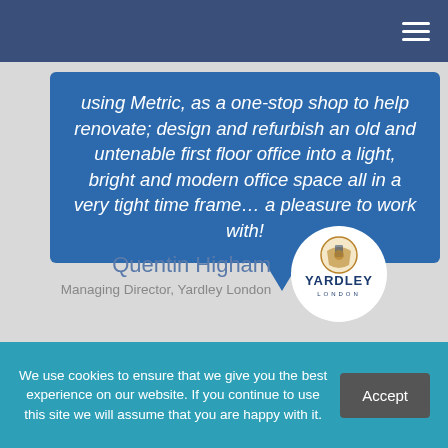Navigation menu
using Metric, as a one-stop shop to help renovate; design and refurbish an old and untenable first floor office into a light, bright and modern office space all in a very tight time frame… a pleasure to work with!
Quentin Higham
Managing Director, Yardley London
[Figure (logo): Yardley London circular logo with crest, brand name and London text]
We use cookies to ensure that we give you the best experience on our website. If you continue to use this site we will assume that you are happy with it.